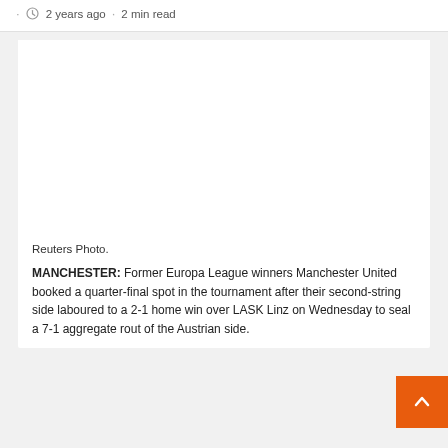· 2 years ago · 2 min read
[Figure (photo): Reuters photo — large white/blank image area representing a news photo]
Reuters Photo.
MANCHESTER: Former Europa League winners Manchester United booked a quarter-final spot in the tournament after their second-string side laboured to a 2-1 home win over LASK Linz on Wednesday to seal a 7-1 aggregate rout of the Austrian side.